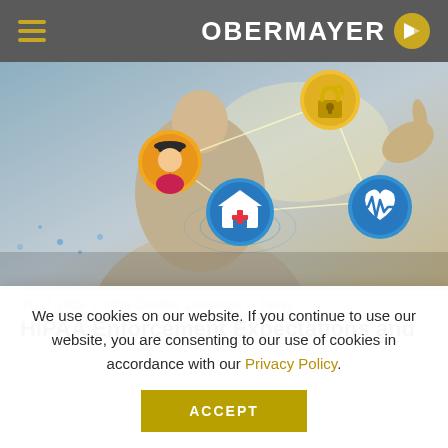OBERMAYER
[Figure (photo): Person in suit interacting with digital healthcare network icons including a spy/detective icon, lock icon, house with medical cross icon, and heart rate monitor icon, connected by glowing lines on a technology background.]
01.17.2019  |  Alina Chuklin, Lawrence J. Tabas
HIPAA Enforcement Expectations and
We use cookies on our website. If you continue to use our website, you are consenting to our use of cookies in accordance with our Privacy Policy.
ACCEPT